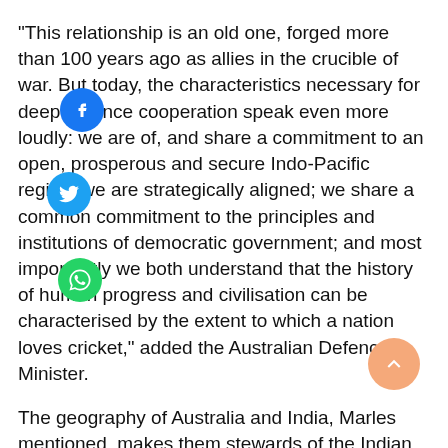"This relationship is an old one, forged more than 100 years ago as allies in the crucible of war. But today, the characteristics necessary for deep defence cooperation speak even more loudly: we are of, and share a commitment to an open, prosperous and secure Indo-Pacific region; we are strategically aligned; we share a common commitment to the principles and institutions of democratic government; and most importantly we both understand that the history of human progress and civilisation can be characterised by the extent to which a nation loves cricket," added the Australian Defence Minister.
The geography of Australia and India, Marles mentioned, makes them stewards of the Indian Ocean region – an ocean which accounts for about half the world's container traffic and is a crucial conduit for global trade.
While asserting that India's location makes it the natural...